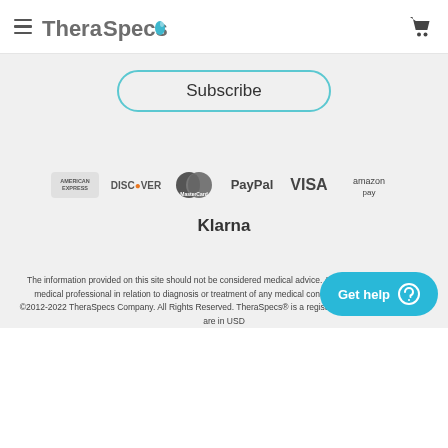TheraSpecs
Subscribe
[Figure (logo): Payment method logos: American Express, Discover, MasterCard, PayPal, VISA, Amazon Pay]
Klarna
The information provided on this site should not be considered medical advice. Always consult a licensed medical professional in relation to diagnosis or treatment of any medical condition | Scientific promise ©2012-2022 TheraSpecs Company. All Rights Reserved. TheraSpecs® is a registered trademark. | All prices are in USD
Get help